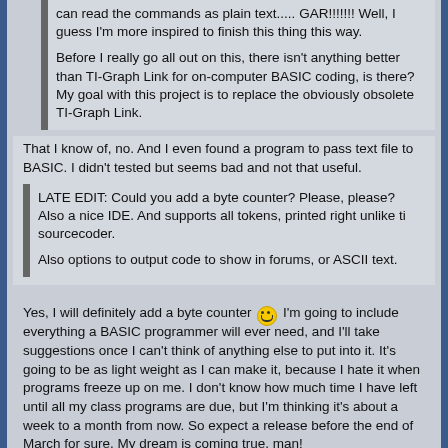can read the commands as plain text..... GAR!!!!!!! Well, I guess I'm more inspired to finish this thing this way.

Before I really go all out on this, there isn't anything better than TI-Graph Link for on-computer BASIC coding, is there? My goal with this project is to replace the obviously obsolete TI-Graph Link.
That I know of, no. And I even found a program to pass text file to BASIC. I didn't tested but seems bad and not that useful.

LATE EDIT: Could you add a byte counter? Please, please?
Also a nice IDE. And supports all tokens, printed right unlike ti sourcecoder.

Also options to output code to show in forums, or ASCII text.
Yes, I will definitely add a byte counter :) I'm going to include everything a BASIC programmer will ever need, and I'll take suggestions once I can't think of anything else to put into it. It's going to be as light weight as I can make it, because I hate it when programs freeze up on me. I don't know how much time I have left until all my class programs are due, but I'm thinking it's about a week to a month from now. So expect a release before the end of March for sure. My dream is coming true, man!